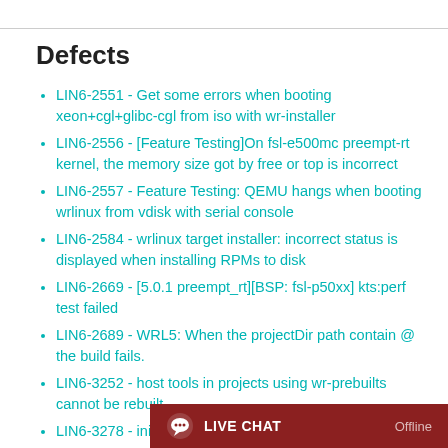Defects
LIN6-2551 - Get some errors when booting xeon+cgl+glibc-cgl from iso with wr-installer
LIN6-2556 - [Feature Testing]On fsl-e500mc preempt-rt kernel, the memory size got by free or top is incorrect
LIN6-2557 - Feature Testing: QEMU hangs when booting wrlinux from vdisk with serial console
LIN6-2584 - wrlinux target installer: incorrect status is displayed when installing RPMs to disk
LIN6-2669 - [5.0.1 preempt_rt][BSP: fsl-p50xx] kts:perf test failed
LIN6-2689 - WRL5: When the projectDir path contain @ the build fails.
LIN6-3252 - host tools in projects using wr-prebuilts cannot be rebuilt
LIN6-3278 - initramfs imag...
LIN6-3284 - host-cross/usr...